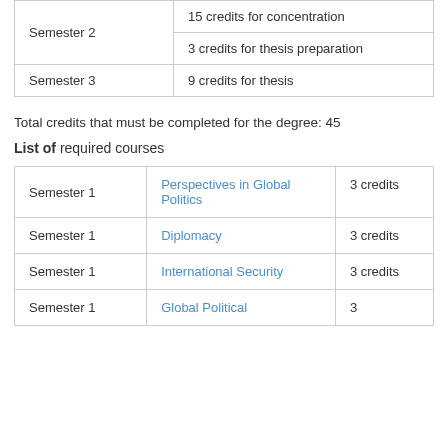|  | Credits |
| --- | --- |
| Semester 2 | 15 credits for concentration
3 credits for thesis preparation |
| Semester 3 | 9 credits for thesis |
Total credits that must be completed for the degree: 45
List of required courses
|  | Course | Credits |
| --- | --- | --- |
| Semester 1 | Perspectives in Global Politics | 3 credits |
| Semester 1 | Diplomacy | 3 credits |
| Semester 1 | International Security | 3 credits |
| Semester 1 | Global Political | 3 |